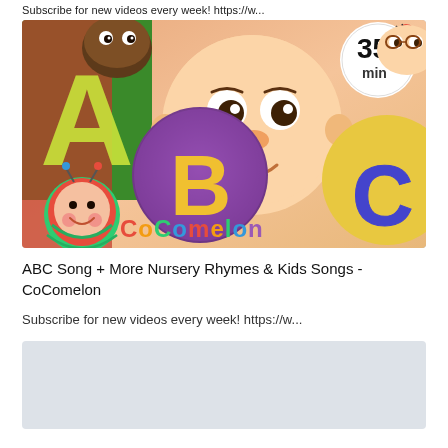Subscribe for new videos every week! https://w...
[Figure (screenshot): CoComelon YouTube video thumbnail showing cartoon children holding ABC letters on colorful balls, with CoComelon logo at bottom and '35 min' badge in top right corner]
ABC Song + More Nursery Rhymes & Kids Songs - CoComelon
Subscribe for new videos every week! https://w...
[Figure (other): Light gray placeholder block at the bottom of the page]